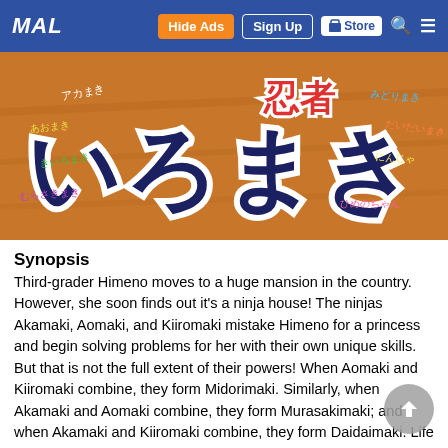MAL  Hide Ads  Sign Up  Store
[Figure (illustration): Japanese manga cover image with orange background showing large stylized Japanese text (いろまき) in dark blue/navy with white outline, and smaller colorful Japanese text scattered around]
Synopsis
Third-grader Himeno moves to a huge mansion in the country. However, she soon finds out it's a ninja house! The ninjas Akamaki, Aomaki, and Kiiromaki mistake Himeno for a princess and begin solving problems for her with their own unique skills. But that is not the full extent of their powers! When Aomaki and Kiiromaki combine, they form Midorimaki. Similarly, when Akamaki and Aomaki combine, they form Murasakimaki; and when Akamaki and Kiiromaki combine, they form Daidaimaki. Life with these colorful ninjas has only begun when they discover a large tornado heading for the mansion. What will happen to Himeno's family? Can the colorful ninjas protect Himeno?